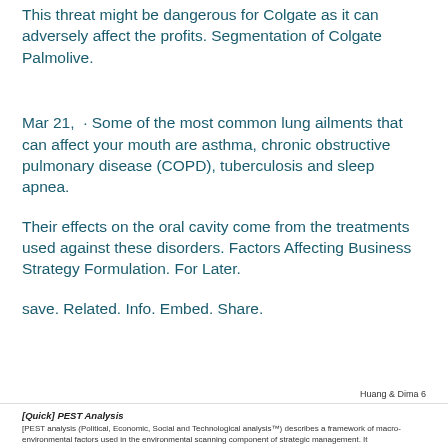This threat might be dangerous for Colgate as it can adversely affect the profits. Segmentation of Colgate Palmolive.
Mar 21,  · Some of the most common lung ailments that can affect your mouth are asthma, chronic obstructive pulmonary disease (COPD), tuberculosis and sleep apnea.
Their effects on the oral cavity come from the treatments used against these disorders. Factors Affecting Business Strategy Formulation. For Later.
save. Related. Info. Embed. Share.
Huang & Dima 6
[Quick] PEST Analysis
[PEST analysis (Political, Economic, Social and Technological analysis™) describes a framework of macro-environmental factors used in the environmental scanning component of strategic management. It